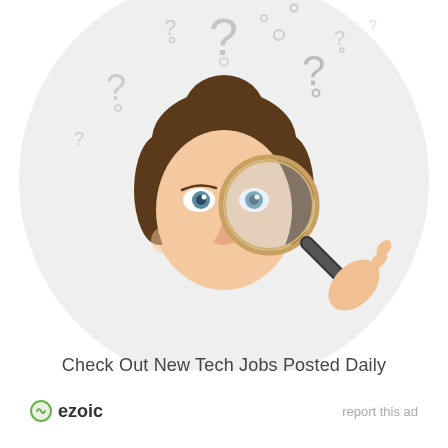[Figure (illustration): Advertisement image showing a young woman holding a magnifying glass over her eye, with question marks floating above her head, set against a circular light gray background. The ad promotes tech jobs.]
Check Out New Tech Jobs Posted Daily
ezoic   report this ad